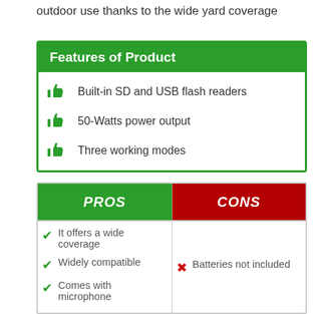outdoor use thanks to the wide yard coverage
Features of Product
Built-in SD and USB flash readers
50-Watts power output
Three working modes
| PROS | CONS |
| --- | --- |
| ✔ It offers a wide coverage
✔ Widely compatible
✔ Comes with microphone | ✗ Batteries not included |